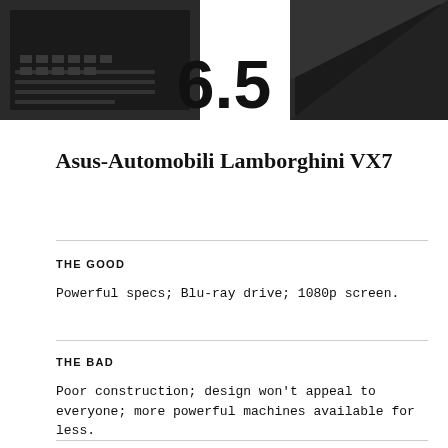[Figure (photo): Partial view of a dark laptop keyboard on the left and a dark laptop on the right, with a score of 6.5 overlaid in bold text in the center]
Asus-Automobili Lamborghini VX7
THE GOOD
Powerful specs; Blu-ray drive; 1080p screen.
THE BAD
Poor construction; design won't appeal to everyone; more powerful machines available for less.